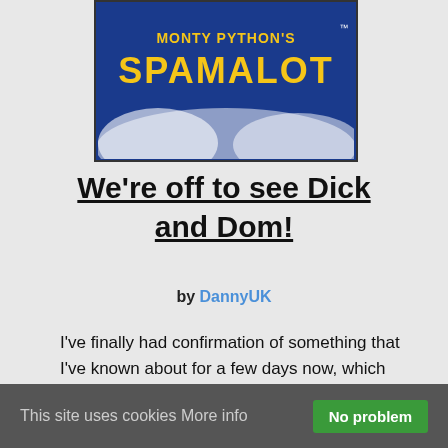[Figure (illustration): Spamalot musical poster/logo on dark blue background with yellow text reading SPAMALOT and white cloud imagery]
We're off to see Dick and Dom!
by DannyUK
I've finally had confirmation of something that I've known about for a few days now, which means I can finally reveal on the blog that the kids and are I going to see Dick and Dom in Eric Idle's Spamalot!
This site uses cookies More info No problem